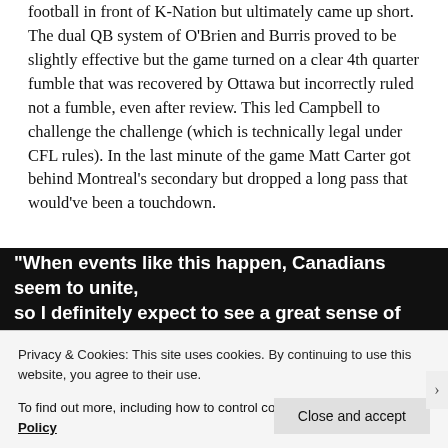football in front of K-Nation but ultimately came up short. The dual QB system of O'Brien and Burris proved to be slightly effective but the game turned on a clear 4th quarter fumble that was recovered by Ottawa but incorrectly ruled not a fumble, even after review. This led Campbell to challenge the challenge (which is technically legal under CFL rules). In the last minute of the game Matt Carter got behind Montreal's secondary but dropped a long pass that would've been a touchdown.
[Figure (photo): Dark background image with white bold text quote: "When events like this happen, Canadians seem to unite, so I definitely expect to see a great sense of patriotism"]
Privacy & Cookies: This site uses cookies. By continuing to use this website, you agree to their use.
To find out more, including how to control cookies, see here: Cookie Policy